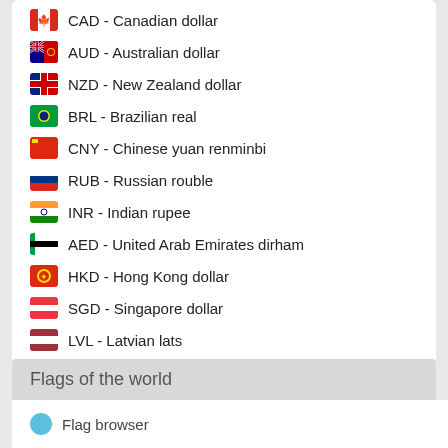CAD - Canadian dollar
AUD - Australian dollar
NZD - New Zealand dollar
BRL - Brazilian real
CNY - Chinese yuan renminbi
RUB - Russian rouble
INR - Indian rupee
AED - United Arab Emirates dirham
HKD - Hong Kong dollar
SGD - Singapore dollar
LVL - Latvian lats
MXN - Mexican peso
ZAR - South Africa rand
BTC - Bitcoin
Flags of the world
Flag browser